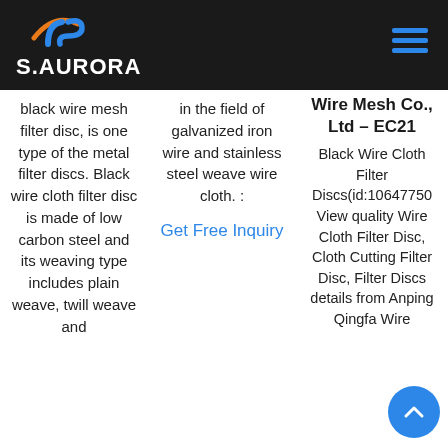[Figure (logo): S.AURORA company logo with stylized JS icon in blue and orange on dark background, with hamburger menu icon in blue on the right]
black wire mesh filter disc, is one type of the metal filter discs. Black wire cloth filter disc is made of low carbon steel and its weaving type includes plain weave, twill weave and
in the field of galvanized iron wire and stainless steel weave wire cloth. :
Get Free Inquiry
Wire Mesh Co., Ltd – EC21
Black Wire Cloth Filter Discs(id:10647750 View quality Wire Cloth Filter Disc, Cloth Cutting Filter Disc, Filter Discs details from Anping Qingfa Wire